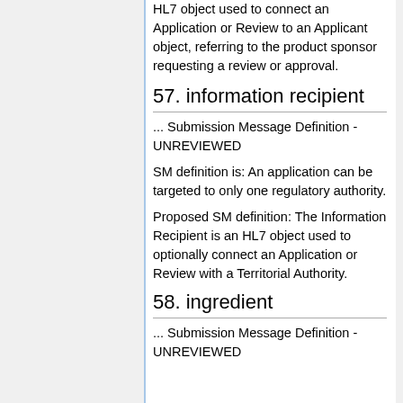HL7 object used to connect an Application or Review to an Applicant object, referring to the product sponsor requesting a review or approval.
57. information recipient
... Submission Message Definition - UNREVIEWED
SM definition is: An application can be targeted to only one regulatory authority.
Proposed SM definition: The Information Recipient is an HL7 object used to optionally connect an Application or Review with a Territorial Authority.
58. ingredient
... Submission Message Definition - UNREVIEWED